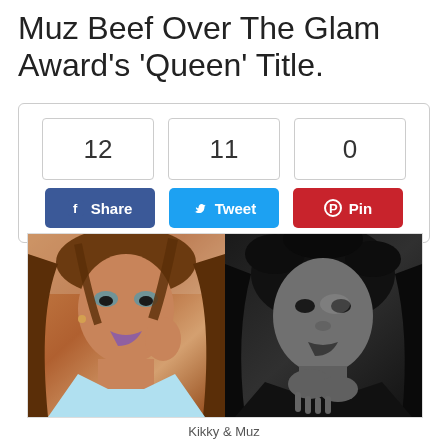Muz Beef Over The Glam Award's 'Queen' Title.
[Figure (infographic): Social share widget with counts: 12 (Facebook Share), 11 (Twitter Tweet), 0 (Pinterest Pin)]
[Figure (photo): Side-by-side photos of Kikky (left, color photo of woman with brown hair and purple makeup) and Muz (right, black and white photo of woman with dark curly hair)]
Kikky & Muz